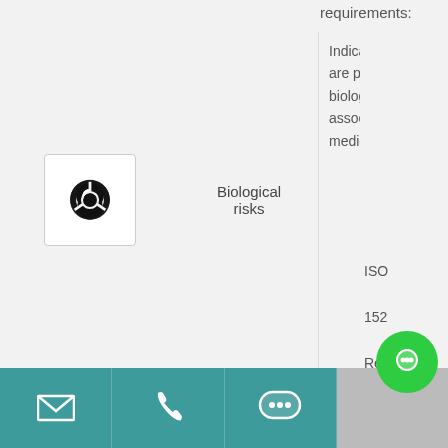requirements:
[Figure (illustration): Biohazard symbol — three interlocked circular arcs with a central circle, black on white background]
Biological risks
Indicates that there are potential biological risks associated with the medical device
Medical devices — Symbols to be used with medical device labels, labelling and information to be supplied — Part 1: General
ISO 152... Ref 5.4
Email | Phone | Chat | Chat bubble button